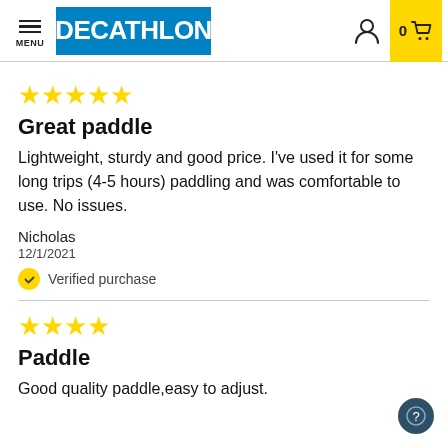DECATHLON — navigation header with menu, logo, user icon, and cart
[Figure (other): Five yellow stars rating]
Great paddle
Lightweight, sturdy and good price. I've used it for some long trips (4-5 hours) paddling and was comfortable to use. No issues.
Nicholas
12/1/2021
Verified purchase
[Figure (other): Four yellow stars rating]
Paddle
Good quality paddle,easy to adjust.